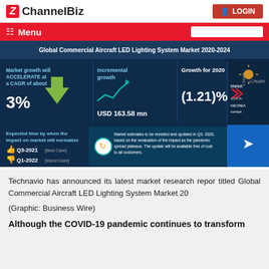ChannelBiz | LOGIN
Menu
[Figure (infographic): Global Commercial Aircraft LED Lighting System Market 2020-2024 infographic showing: Market growth will ACCELERATE at a CAGR of about 3%, Incremental growth USD 163.58 mn, Growth for 2020 (1.21)%, Expected time by when the impact on market will normalize: Q3-2021 (Best Case), Q1-2022 (Worst Case). Market estimates to be revisited and updated in Q3-2020 based on the revaluation of the impact as the pandemic spread plateaus.]
(Graphic: Business Wire)
Technavio has announced its latest market research report titled Global Commercial Aircraft LED Lighting System Market 2020-2024
Although the COVID-19 pandemic continues to transform